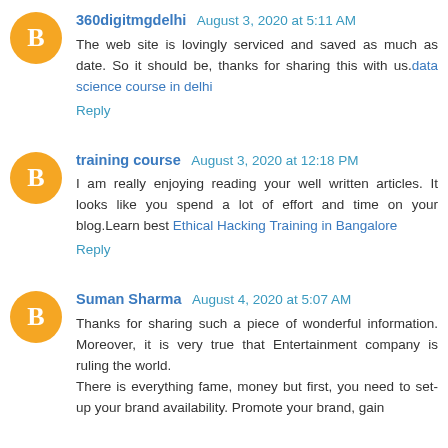360digitmgdelhi August 3, 2020 at 5:11 AM
The web site is lovingly serviced and saved as much as date. So it should be, thanks for sharing this with us.data science course in delhi
Reply
training course August 3, 2020 at 12:18 PM
I am really enjoying reading your well written articles. It looks like you spend a lot of effort and time on your blog.Learn best Ethical Hacking Training in Bangalore
Reply
Suman Sharma August 4, 2020 at 5:07 AM
Thanks for sharing such a piece of wonderful information. Moreover, it is very true that Entertainment company is ruling the world.
There is everything fame, money but first, you need to set-up your brand availability. Promote your brand, gain